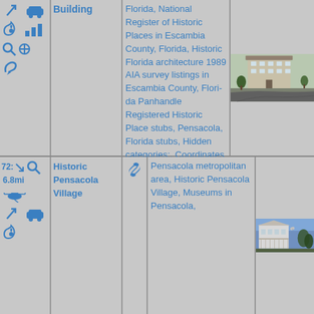| Icons/Distance | Name | Link | Categories | Photo |
| --- | --- | --- | --- | --- |
| [icons: arrow, car, spiral, chart, search, plus, link] | Building |  | Florida, National Register of Historic Places in Escambia County, Florida, Historic Florida architecture 1989 AIA survey listings in Escambia County, Florida Panhandle Registered Historic Place stubs, Pensacola, Florida stubs, Hidden categories:, Coordinates on Wikidata, All stub articles, | [photo of building] |
| 72: ↘ 6.8mi [magnify][helicopter][arrow][car][spiral] | Historic Pensacola Village | [link icon] | Pensacola metropolitan area, Historic Pensacola Village, Museums in Pensacola, | [photo of building] |